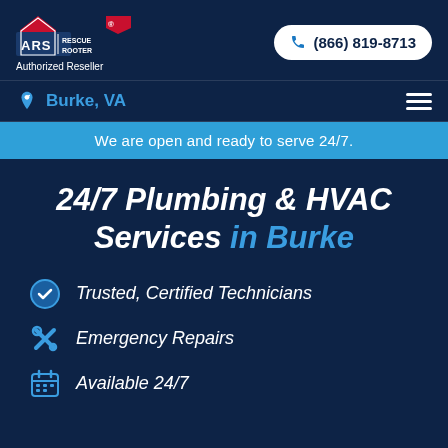[Figure (logo): ARS Rescue Rooter logo with house and flag shape, red/blue/white colors]
Authorized Reseller
(866) 819-8713
Burke, VA
We are open and ready to serve 24/7.
24/7 Plumbing & HVAC Services in Burke
Trusted, Certified Technicians
Emergency Repairs
Available 24/7